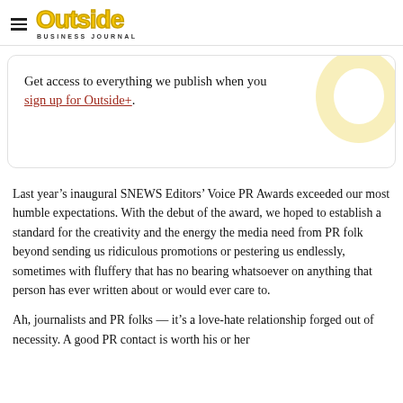Outside Business Journal
Get access to everything we publish when you sign up for Outside+.
Last year’s inaugural SNEWS Editors’ Voice PR Awards exceeded our most humble expectations. With the debut of the award, we hoped to establish a standard for the creativity and the energy the media need from PR folk beyond sending us ridiculous promotions or pestering us endlessly, sometimes with fluffery that has no bearing whatsoever on anything that person has ever written about or would ever care to.
Ah, journalists and PR folks — it’s a love-hate relationship forged out of necessity. A good PR contact is worth his or her